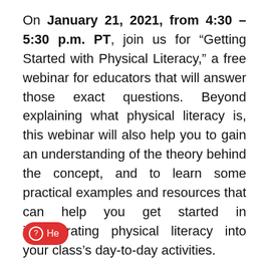On January 21, 2021, from 4:30 – 5:30 p.m. PT, join us for “Getting Started with Physical Literacy,” a free webinar for educators that will answer those exact questions. Beyond explaining what physical literacy is, this webinar will also help you to gain an understanding of the theory behind the concept, and to learn some practical examples and resources that can help you get started in incorporating physical literacy into your class’s day-to-day activities.
An expert in the physical literacy space, [He]us Professor from University of Victoria’s School of Exercise Science,